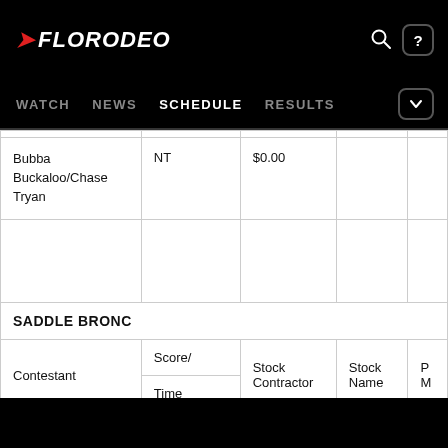FLORODEO — WATCH  NEWS  SCHEDULE  RESULTS
|  |  |  |  |  |
| --- | --- | --- | --- | --- |
| Bubba Buckaloo/Chase Tryan | NT | $0.00 |  |  |
|  |  |  |  |  |
| SADDLE BRONC |  |  |  |  |
| Contestant | Score/
Time | Stock Contractor | Stock Name | P M |